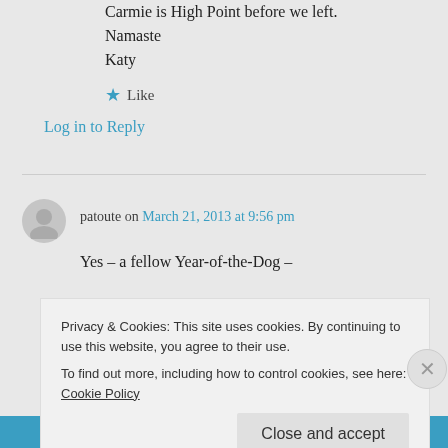Carmie is High Point before we left.
Namaste
Katy
★ Like
Log in to Reply
patoute on March 21, 2013 at 9:56 pm
Yes – a fellow Year-of-the-Dog –
Privacy & Cookies: This site uses cookies. By continuing to use this website, you agree to their use.
To find out more, including how to control cookies, see here: Cookie Policy
Close and accept